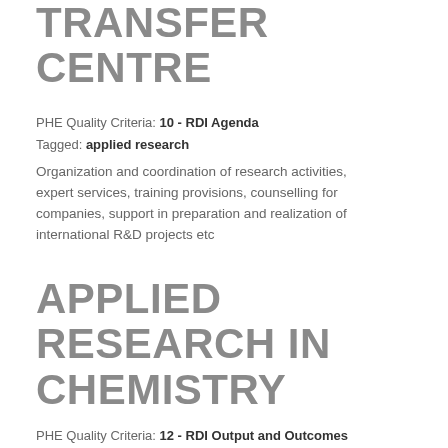TECHNOLOGY TRANSFER CENTRE
PHE Quality Criteria: 10 - RDI Agenda
Tagged: applied research
Organization and coordination of research activities, expert services, training provisions, counselling for companies, support in preparation and realization of international R&D projects etc
APPLIED RESEARCH IN CHEMISTRY
PHE Quality Criteria: 12 - RDI Output and Outcomes